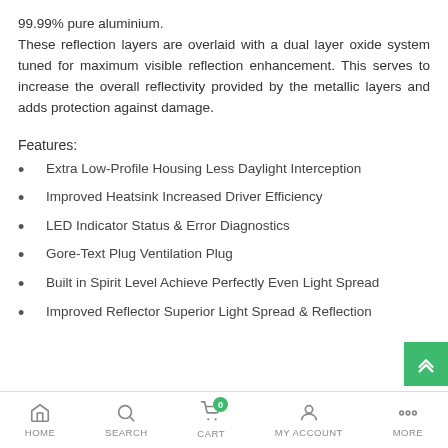99.99% pure aluminium. These reflection layers are overlaid with a dual layer oxide system tuned for maximum visible reflection enhancement. This serves to increase the overall reflectivity provided by the metallic layers and adds protection against damage.
Features:
Extra Low-Profile Housing Less Daylight Interception
Improved Heatsink Increased Driver Efficiency
LED Indicator Status & Error Diagnostics
Gore-Text Plug Ventilation Plug
Built in Spirit Level Achieve Perfectly Even Light Spread
Improved Reflector Superior Light Spread & Reflection
HOME   SEARCH   CART   MY ACCOUNT   MORE